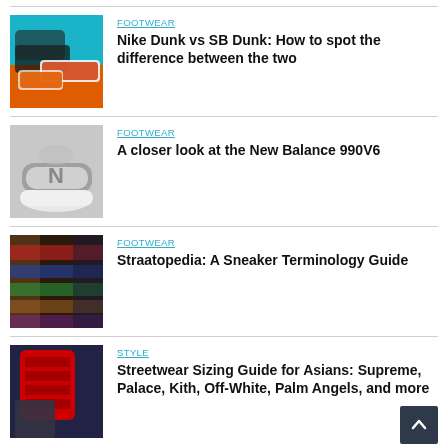[Figure (photo): Nike Dunk and SB Dunk sneakers on teal/orange background]
FOOTWEAR
Nike Dunk vs SB Dunk: How to spot the difference between the two
[Figure (photo): Person holding grey New Balance 990V6 sneaker]
FOOTWEAR
A closer look at the New Balance 990V6
[Figure (photo): Colorful sneakers on display shelves]
FOOTWEAR
Straatopedia: A Sneaker Terminology Guide
[Figure (photo): Streetwear clothing including red Supreme/LV piece]
STYLE
Streetwear Sizing Guide for Asians: Supreme, Palace, Kith, Off-White, Palm Angels, and more